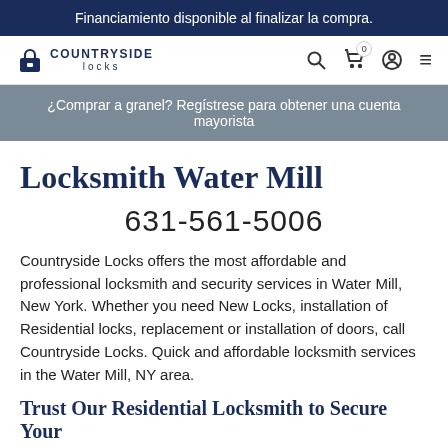Financiamiento disponible al finalizar la compra.
[Figure (logo): Countryside Locks logo with padlock icon]
¿Comprar a granel? Regístrese para obtener una cuenta mayorista
Locksmith Water Mill
631-561-5006
Countryside Locks offers the most affordable and professional locksmith and security services in Water Mill, New York. Whether you need New Locks, installation of Residential locks, replacement or installation of doors, call Countryside Locks. Quick and affordable locksmith services in the Water Mill, NY area.
Trust Our Residential Locksmith to Secure Your